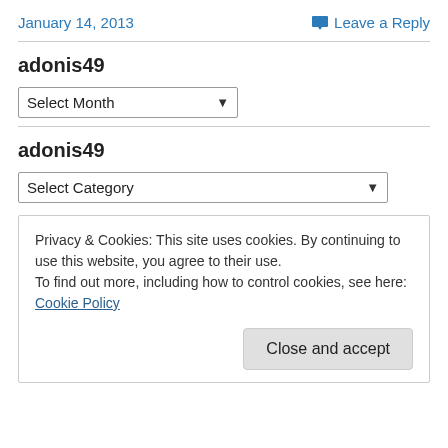January 14, 2013
Leave a Reply
adonis49
[Figure (other): Select Month dropdown widget]
adonis49
[Figure (other): Select Category dropdown widget]
Privacy & Cookies: This site uses cookies. By continuing to use this website, you agree to their use.
To find out more, including how to control cookies, see here: Cookie Policy
Close and accept